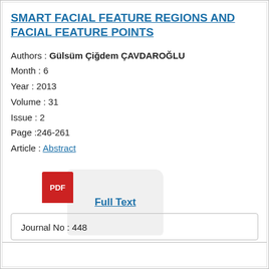SMART FACIAL FEATURE REGIONS AND FACIAL FEATURE POINTS
Authors : Gülsüm Çiğdem ÇAVDAROĞLU
Month : 6
Year : 2013
Volume : 31
Issue : 2
Page :246-261
Article : Abstract
[Figure (other): PDF icon with red background labeled 'PDF' and a card labeled 'Full Text']
Journal No : 448